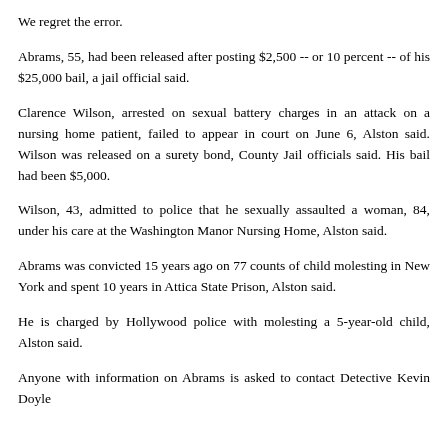We regret the error.
Abrams, 55, had been released after posting $2,500 -- or 10 percent -- of his $25,000 bail, a jail official said.
Clarence Wilson, arrested on sexual battery charges in an attack on a nursing home patient, failed to appear in court on June 6, Alston said. Wilson was released on a surety bond, County Jail officials said. His bail had been $5,000.
Wilson, 43, admitted to police that he sexually assaulted a woman, 84, under his care at the Washington Manor Nursing Home, Alston said.
Abrams was convicted 15 years ago on 77 counts of child molesting in New York and spent 10 years in Attica State Prison, Alston said.
He is charged by Hollywood police with molesting a 5-year-old child, Alston said.
Anyone with information on Abrams is asked to contact Detective Kevin Doyle